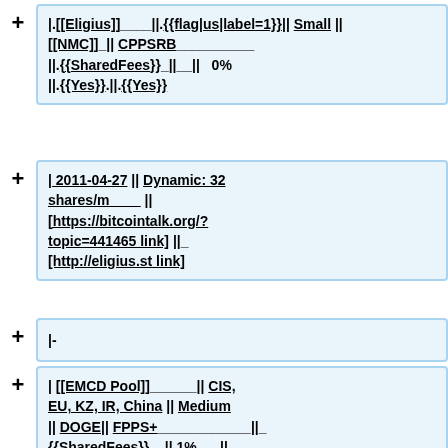|.[[Eligius]]____||.{{flag|us|label=1}}|| Small || [[NMC]]_|| CPPSRB__________||.{{SharedFees}}_||__||___0%___||.{{Yes}}.||.{{Yes}}
| 2011-04-27 || Dynamic: 32 shares/m____||.[https://bitcointalk.org/?topic=441465 link]||_[http://eligius.st link]
|-
| [[EMCD Pool]]______|| CIS, EU, KZ, IR, China || Medium || DOGE|| FPPS+____________||_{{SharedFees}}__|| 1%___||__0%___|| {{Yes}} || {{No}}
| 2018-01-26 || Dynamic